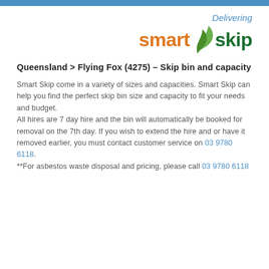[Figure (logo): Smart Skip logo with green leaf icon, 'Delivering' in italic blue, 'smart' in orange bold, 'skip' in dark green bold]
Queensland > Flying Fox (4275) – Skip bin and capacity
Smart Skip come in a variety of sizes and capacities. Smart Skip can help you find the perfect skip bin size and capacity to fit your needs and budget.
All hires are 7 day hire and the bin will automatically be booked for removal on the 7th day. If you wish to extend the hire and or have it removed earlier, you must contact customer service on 03 9780 6118.
**For asbestos waste disposal and pricing, please call 03 9780 6118